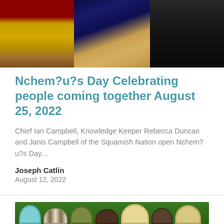[Figure (photo): Three-panel photo collage showing Indigenous people in traditional clothing and regalia outdoors]
Nchem?u?s Day Celebrating people coming together August 25, 2022
Chief Ian Campbell, Knowledge Keeper Rebecca Duncan and Janis Campbell of the Squamish Nation open Nchem?u?s Day...
Joseph Catlin
August 12, 2022
[Figure (photo): Row of colorful hats displayed on green grass, including light blue, striped, olive green, brown, and natural straw hats]